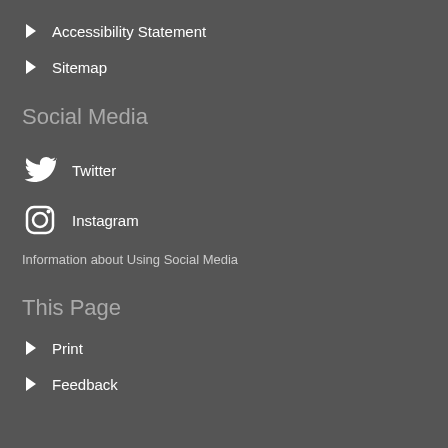Accessibility Statement
Sitemap
Social Media
Twitter
Instagram
Information about Using Social Media
This Page
Print
Feedback